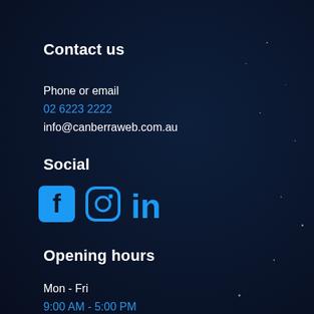Contact us
Phone or email
02 6223 2222
info@canberraweb.com.au
Social
[Figure (illustration): Three social media icons: Facebook (square with f logo), Instagram (camera icon), and LinkedIn (in logo), all in bright blue color]
Opening hours
Mon - Fri
9:00 AM - 5:00 PM